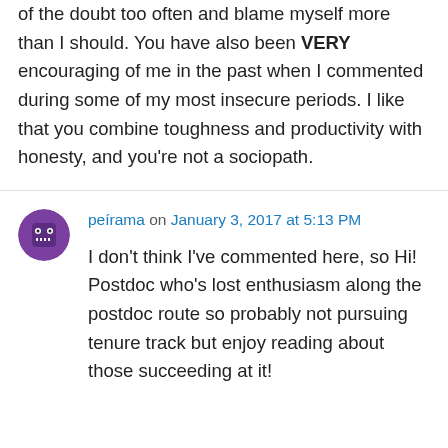of the doubt too often and blame myself more than I should. You have also been VERY encouraging of me in the past when I commented during some of my most insecure periods. I like that you combine toughness and productivity with honesty, and you're not a sociopath.
peírama on January 3, 2017 at 5:13 PM
I don't think I've commented here, so Hi! Postdoc who's lost enthusiasm along the postdoc route so probably not pursuing tenure track but enjoy reading about those succeeding at it!